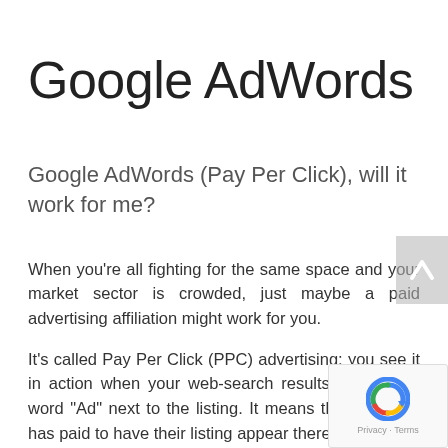Google AdWords
Google AdWords (Pay Per Click), will it work for me?
When you're all fighting for the same space and your market sector is crowded, just maybe a paid advertising affiliation might work for you.
It's called Pay Per Click (PPC) advertising; you see it in action when your web-search results display the word "Ad" next to the listing. It means that business has paid to have their listing appear there.